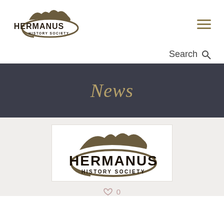[Figure (logo): Hermanus History Society logo in header, with mountain silhouette above an oval swoosh, text HERMANUS HISTORY SOCIETY]
[Figure (other): Hamburger menu icon with three horizontal lines in olive/gold color]
Search
News
[Figure (logo): Hermanus History Society logo, large version, mountain silhouette above oval swoosh, bold text HERMANUS HISTORY SOCIETY]
0